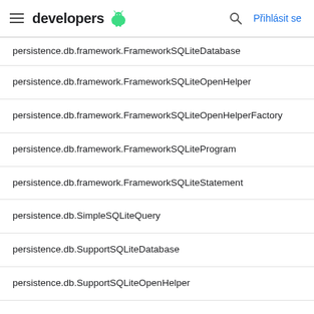developers
persistence.db.framework.FrameworkSQLiteDatabase
persistence.db.framework.FrameworkSQLiteOpenHelper
persistence.db.framework.FrameworkSQLiteOpenHelperFactory
persistence.db.framework.FrameworkSQLiteProgram
persistence.db.framework.FrameworkSQLiteStatement
persistence.db.SimpleSQLiteQuery
persistence.db.SupportSQLiteDatabase
persistence.db.SupportSQLiteOpenHelper